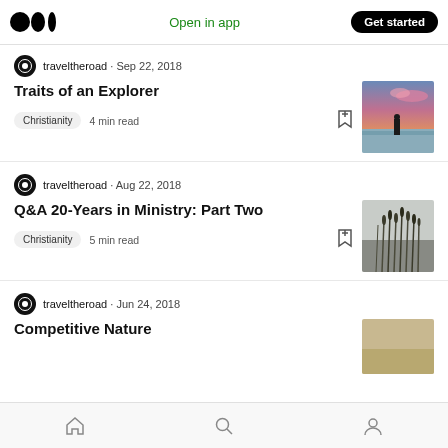Medium logo | Open in app | Get started
traveltheroad · Sep 22, 2018
Traits of an Explorer
Christianity   4 min read
traveltheroad · Aug 22, 2018
Q&A 20-Years in Ministry: Part Two
Christianity   5 min read
traveltheroad · Jun 24, 2018
Competitive Nature
Home  Search  Profile